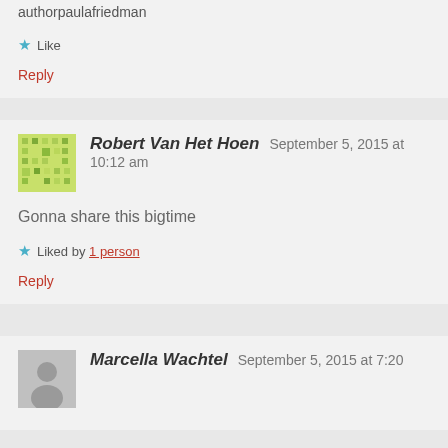authorpaulafriedman
★ Like
Reply
Robert Van Het Hoen  September 5, 2015 at 10:12 am
Gonna share this bigtime
★ Liked by 1 person
Reply
Marcella Wachtel  September 5, 2015 at 7:20